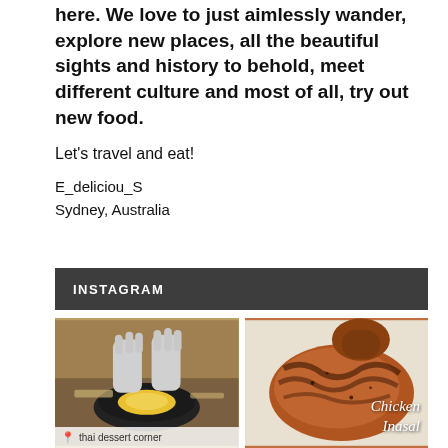here. We love to just aimlessly wander, explore new places, all the beautiful sights and history to behold, meet different culture and most of all, try out new food.
Let's travel and eat!
E_deliciou_S
Sydney, Australia
INSTAGRAM
[Figure (photo): Hands cracking an egg into a pan, cooking scene. Label at bottom: 'thai dessert corner homemade']
[Figure (photo): Grilled/roasted chicken piece on a plate. Text overlay: 'Chicken Inasal']